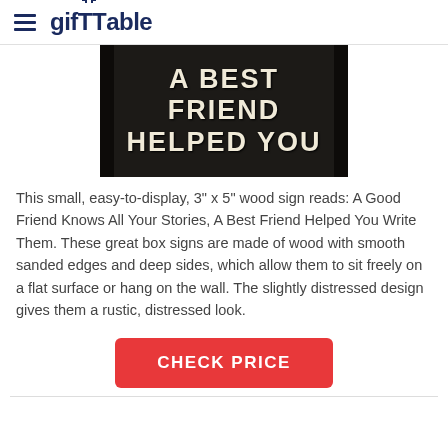giftTable
[Figure (photo): Close-up of a dark wood sign with bold white distressed lettering reading 'A BEST FRIEND HELPED YOU']
This small, easy-to-display, 3" x 5" wood sign reads: A Good Friend Knows All Your Stories, A Best Friend Helped You Write Them. These great box signs are made of wood with smooth sanded edges and deep sides, which allow them to sit freely on a flat surface or hang on the wall. The slightly distressed design gives them a rustic, distressed look.
CHECK PRICE